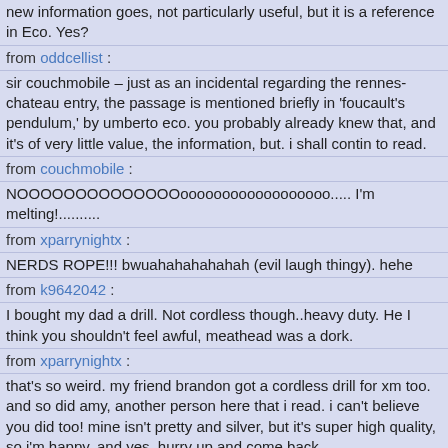new information goes, not particularly useful, but it is a reference in Eco. Yes?
from oddcellist :
sir couchmobile – just as an incidental regarding the rennes-chateau entry, the passage is mentioned briefly in 'foucault's pendulum,' by umberto eco. you probably already knew that, and it's of very little value, the information, but. i shall contin to read.
from couchmobile :
NOOOOOOOOOOOOOOoooooooooooooooooo..... I'm melting!..........
from xparrynightx :
NERDS ROPE!!! bwuahahahahahah (evil laugh thingy). hehe
from k9642042 :
I bought my dad a drill. Not cordless though..heavy duty. He I think you shouldn't feel awful, meathead was a dork.
from xparrynightx :
that's so weird. my friend brandon got a cordless drill for xm too. and so did amy, another person here that i read. i can't believe you did too! mine isn't pretty and silver, but it's super high quality, so i'm happy. and yes, hurry up and come back.
from xparrynightx :
hey! i miss you. come back :)
from k9642042 :